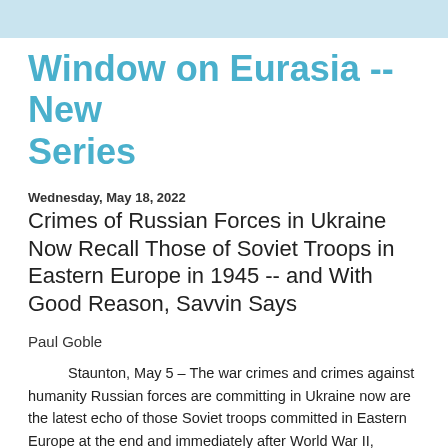Window on Eurasia -- New Series
Wednesday, May 18, 2022
Crimes of Russian Forces in Ukraine Now Recall Those of Soviet Troops in Eastern Europe in 1945 -- and With Good Reason, Savvin Says
Paul Goble
Staunton, May 5 – The war crimes and crimes against humanity Russian forces are committing in Ukraine now are the latest echo of those Soviet troops committed in Eastern Europe at the end and immediately after World War II, Dimitry Savvin says, a continuity the West is unwilling to see.